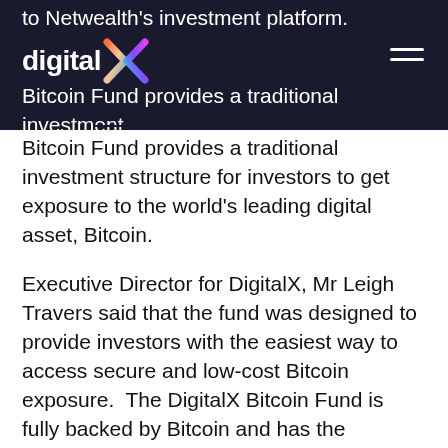to Netwealth's investment platform.
[Figure (logo): DigitalX logo with colorful X graphic on dark background]
Bitcoin Fund provides a traditional investment structure for investors to get exposure to the world's leading digital asset, Bitcoin.
Executive Director for DigitalX, Mr Leigh Travers said that the fund was designed to provide investors with the easiest way to access secure and low-cost Bitcoin exposure. The DigitalX Bitcoin Fund is fully backed by Bitcoin and has the custody, insurance and independent administration standards expected from an institutional grade product.
“We are delighted that growing interest in this liquid, alternative asset has led to the DigitalX Bitcoin Fund being added to the Netwealth investment platform. Bitcoin has been one of the best performing assets over the last decade and it is pleasing to be able to bring that asset to Australian wholesale investors on Australia’s #1 rated